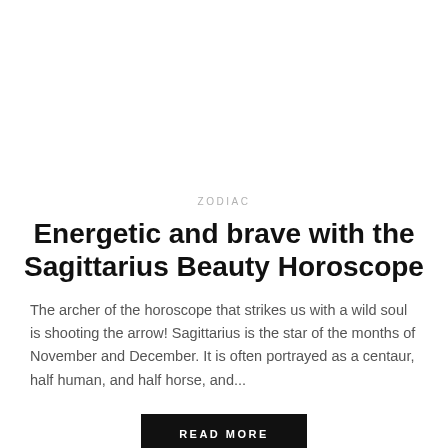ZODIAC
Energetic and brave with the Sagittarius Beauty Horoscope
The archer of the horoscope that strikes us with a wild soul is shooting the arrow! Sagittarius is the star of the months of November and December. It is often portrayed as a centaur, half human, and half horse, and...
READ MORE